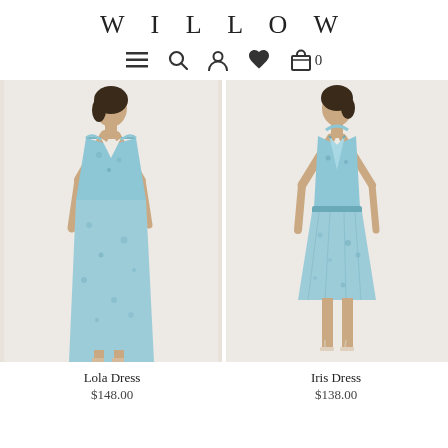WILLOW
[Figure (screenshot): Navigation bar with hamburger menu, search, account, heart/wishlist, and shopping bag icons with 0 count]
[Figure (photo): Model wearing Lola Dress - a light blue floral midi dress with V-neckline and spaghetti straps, shown on a cream background]
[Figure (photo): Model wearing Iris Dress - a light blue floral mini dress with halter neck tie, shown on a cream background]
Lola Dress
$148.00
Iris Dress
$138.00